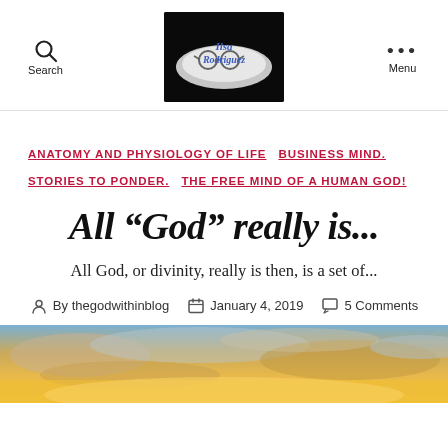Search | [Logo: Ilsa Rodriguez blog] | Menu
ANATOMY AND PHYSIOLOGY OF LIFE  BUSINESS MIND.  STORIES TO PONDER.  THE FREE MIND OF A HUMAN GOD!
All “God” really is...
All God, or divinity, really is then, is a set of...
By thegodwithinblog  January 4, 2019  5 Comments
[Figure (photo): Sunset sky with golden and orange clouds]